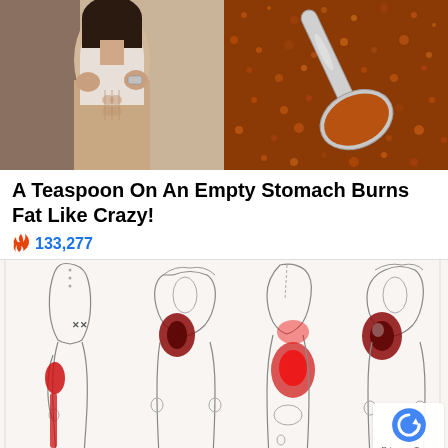[Figure (photo): Top composite image: left half shows a fit woman lifting her white tank top to reveal toned abs; right half shows a metal spoon with orange/red spice powder (cumin or similar)]
A Teaspoon On An Empty Stomach Burns Fat Like Crazy!
🔥 133,277
[Figure (illustration): Medical illustration showing four body outline figures with red highlighted pain/inflammation areas on the hip, thigh, and lower body regions]